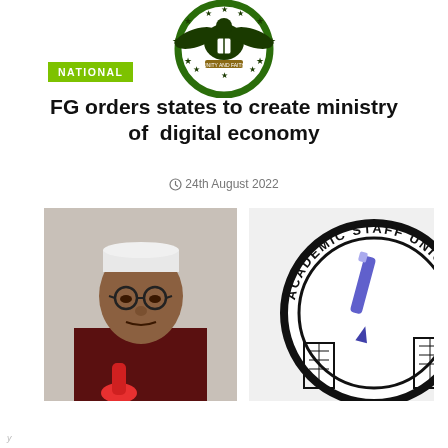[Figure (logo): Nigerian coat of arms / federal government seal at top center]
NATIONAL
FG orders states to create ministry of  digital economy
24th August 2022
[Figure (photo): Portrait photo of President Muhammadu Buhari wearing white cap and glasses, speaking at a microphone]
[Figure (logo): Academic Staff Union of Universities (ASUU) circular logo with pen and buildings]